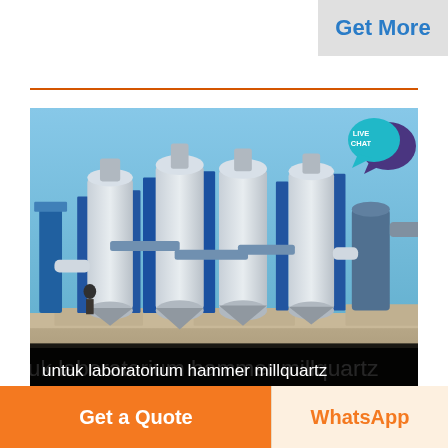Get More
[Figure (photo): Industrial hammer mill / grinding plant with blue cylindrical tanks, silos, and connected pipe systems outdoors under a clear blue sky. Multiple cylindrical storage tanks and separators visible.]
untuk laboratorium hammer millquartz
Get a Quote
WhatsApp